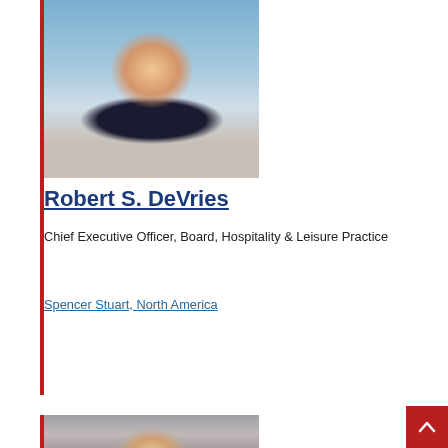[Figure (photo): Professional headshot of Robert S. DeVries, a middle-aged man in a dark suit with a red tie, smiling, with a city building in the background]
Robert S. DeVries
Chief Executive Officer, Board, Hospitality & Leisure Practice
Spencer Stuart, North America
[Figure (photo): Partial professional headshot of a woman with dark brown hair, visible from the shoulders up against a gray background]